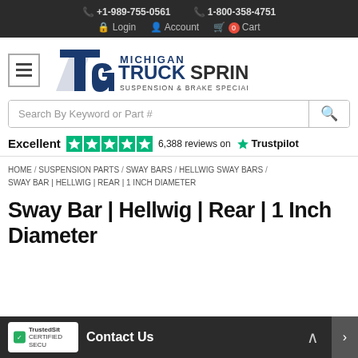+1-989-755-0561   1-800-358-4751   Login   Account   0 Cart
[Figure (logo): Michigan TruckSpring Suspension & Brake Specialist + logo with TS monogram]
Search By Keyword or Part #
Excellent  6,388 reviews on  Trustpilot
HOME / SUSPENSION PARTS / SWAY BARS / HELLWIG SWAY BARS / SWAY BAR | HELLWIG | REAR | 1 INCH DIAMETER
Sway Bar | Hellwig | Rear | 1 Inch Diameter
Contact Us